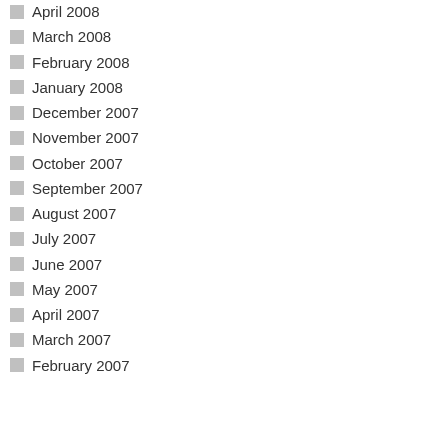April 2008
March 2008
February 2008
January 2008
December 2007
November 2007
October 2007
September 2007
August 2007
July 2007
June 2007
May 2007
April 2007
March 2007
February 2007
hours today. For two weeks I worked straight through, w